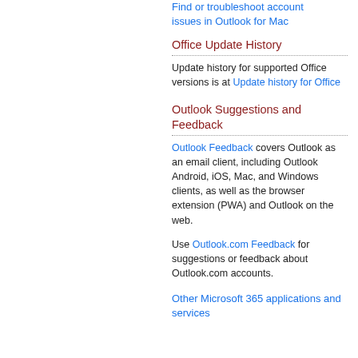Find or troubleshoot account issues in Outlook for Mac
Office Update History
Update history for supported Office versions is at Update history for Office
Outlook Suggestions and Feedback
Outlook Feedback covers Outlook as an email client, including Outlook Android, iOS, Mac, and Windows clients, as well as the browser extension (PWA) and Outlook on the web.
Use Outlook.com Feedback for suggestions or feedback about Outlook.com accounts.
Other Microsoft 365 applications and services